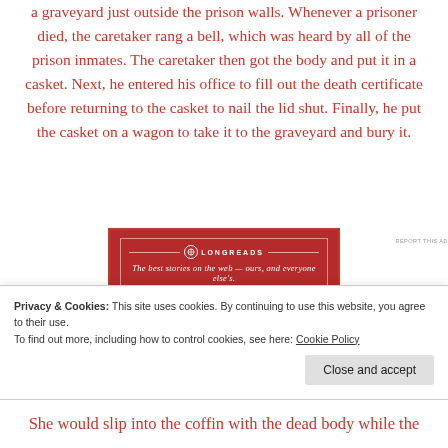a graveyard just outside the prison walls. Whenever a prisoner died, the caretaker rang a bell, which was heard by all of the prison inmates. The caretaker then got the body and put it in a casket. Next, he entered his office to fill out the death certificate before returning to the casket to nail the lid shut. Finally, he put the casket on a wagon to take it to the graveyard and bury it.
[Figure (other): Longreads advertisement banner with red background. Logo reads 'LONGREADS' with tagline 'The best stories on the web — ours, and everyone else's.']
Privacy & Cookies: This site uses cookies. By continuing to use this website, you agree to their use. To find out more, including how to control cookies, see here: Cookie Policy
She would slip into the coffin with the dead body while the